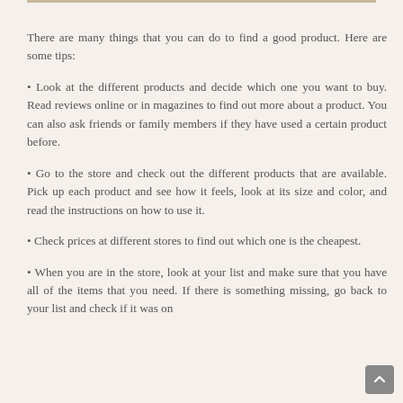There are many things that you can do to find a good product. Here are some tips:
• Look at the different products and decide which one you want to buy. Read reviews online or in magazines to find out more about a product. You can also ask friends or family members if they have used a certain product before.
• Go to the store and check out the different products that are available. Pick up each product and see how it feels, look at its size and color, and read the instructions on how to use it.
• Check prices at different stores to find out which one is the cheapest.
• When you are in the store, look at your list and make sure that you have all of the items that you need. If there is something missing, go back to your list and check if it was on